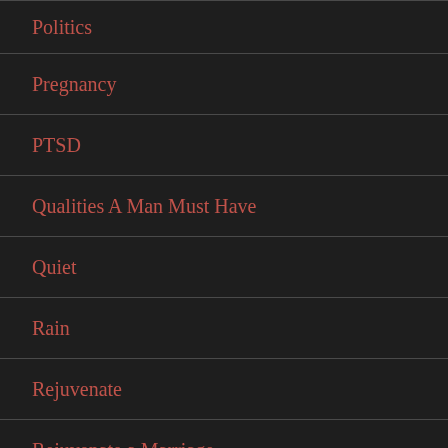Politics
Pregnancy
PTSD
Qualities A Man Must Have
Quiet
Rain
Rejuvenate
Rejuvenate a Marriage